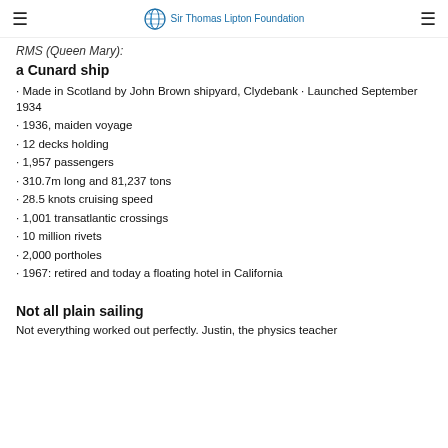Sir Thomas Lipton Foundation
RMS Queen Mary:
a Cunard ship
Made in Scotland by John Brown shipyard, Clydebank · Launched September 1934
1936, maiden voyage
12 decks holding
1,957 passengers
310.7m long and 81,237 tons
28.5 knots cruising speed
1,001 transatlantic crossings
10 million rivets
2,000 portholes
1967: retired and today a floating hotel in California
Not all plain sailing
Not everything worked out perfectly. Justin, the physics teacher